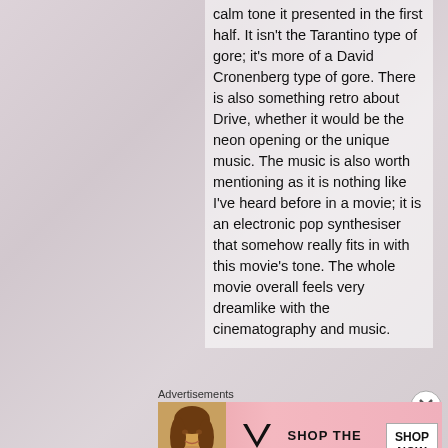calm tone it presented in the first half. It isn't the Tarantino type of gore; it's more of a David Cronenberg type of gore. There is also something retro about Drive, whether it would be the neon opening or the unique music. The music is also worth mentioning as it is nothing like I've heard before in a movie; it is an electronic pop synthesiser that somehow really fits in with this movie's tone. The whole movie overall feels very dreamlike with the cinematography and music.
Advertisements
[Figure (photo): Victoria's Secret advertisement banner with a model, VS logo, 'SHOP THE COLLECTION' text, and a 'SHOP NOW' button]